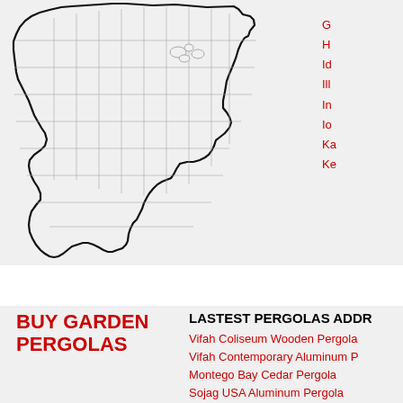[Figure (map): Outline map of the contiguous United States with state borders shown in light gray lines on a light gray background.]
G
H
Id
Ill
In
Io
Ka
Ke
BUY GARDEN PERGOLAS
LASTEST PERGOLAS ADDR
Vifah Coliseum Wooden Pergola
Vifah Contemporary Aluminum P
Montego Bay Cedar Pergola
Sojag USA Aluminum Pergola